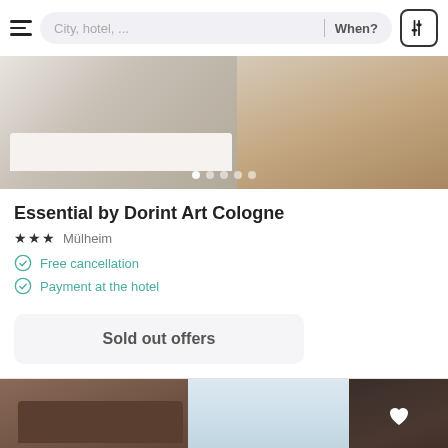City, hotel, ...   When?
[Figure (photo): Hotel room photo showing a bed with white linens and wooden flooring, displayed as a carousel with 5 dot indicators]
Essential by Dorint Art Cologne
★ ★ ★  Mülheim
Free cancellation
Payment at the hotel
Sold out offers
[Figure (photo): Hotel room photo showing a bed with dark wooden headboard, large windows, and a lamp on the right side with a heart cutout on the headboard]